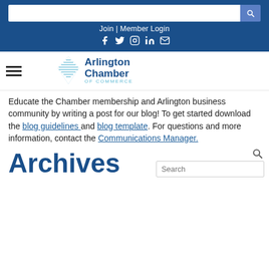Join | Member Login
[Figure (logo): Arlington Chamber of Commerce logo with diamond shape icon]
Educate the Chamber membership and Arlington business community by writing a post for our blog! To get started download the blog guidelines and blog template. For questions and more information, contact the Communications Manager.
Archives